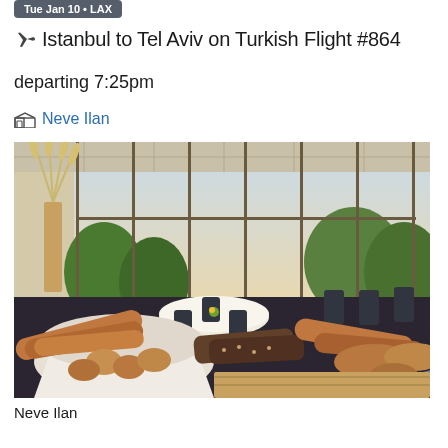Tue Jan 10 • LAX
Istanbul to Tel Aviv on Turkish Flight #864
departing 7:25pm
Neve Ilan
[Figure (photo): Interior of Neve Ilan hotel dining room with large windows overlooking greenery, tables set with white linens and chairs, and a foreground display of various breads and rolls on a wooden surface with white cloth.]
Neve Ilan